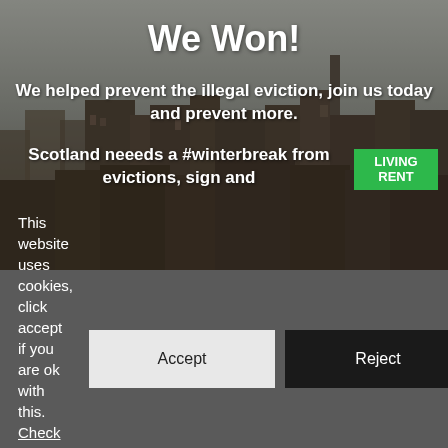[Figure (photo): Aerial cityscape photo of Glasgow rooftops under an overcast sky, overlaid with white text: 'We Won!', 'We helped prevent the illegal eviction, join us today and prevent more.', 'Scotland neeeds a #winterbreak from evictions, sign and' with a green Living Rent logo badge.]
This website uses cookies, click accept if you are ok with this. Check out our privacy policy.